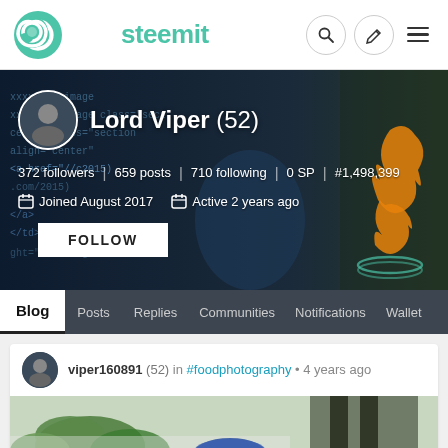[Figure (screenshot): Steemit website header with logo, search icon, edit icon, and hamburger menu]
[Figure (photo): Profile banner with dark tech/coding background showing code and a glowing hand, with Java logo on right side]
Lord Viper (52)
372 followers | 659 posts | 710 following | 0 SP | #1,498,399
Joined August 2017  Active 2 years ago
FOLLOW
Blog  Posts  Replies  Communities  Notifications  Wallet
viper160891 (52) in #foodphotography • 4 years ago
[Figure (photo): Food photography showing green plants and blue ceramic bowl on a table, partial view]